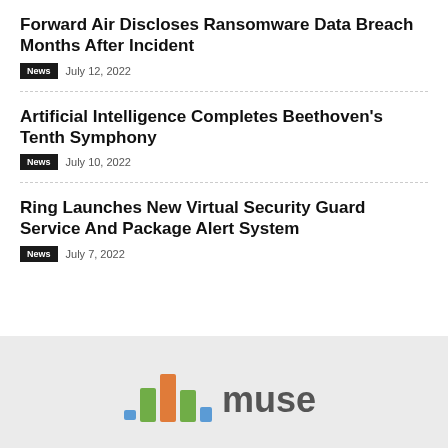Forward Air Discloses Ransomware Data Breach Months After Incident
News   July 12, 2022
Artificial Intelligence Completes Beethoven's Tenth Symphony
News   July 10, 2022
Ring Launches New Virtual Security Guard Service And Package Alert System
News   July 7, 2022
[Figure (logo): MUSE logo with colorful bar chart icon and gray text 'muse']